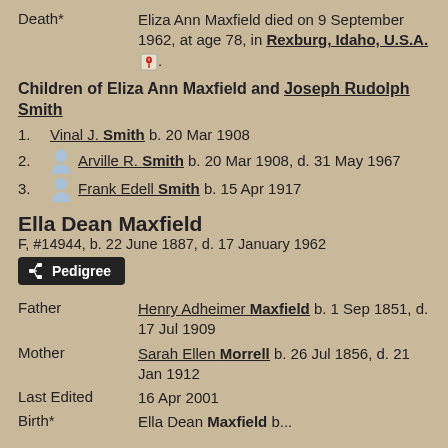Death* Eliza Ann Maxfield died on 9 September 1962, at age 78, in Rexburg, Idaho, U.S.A.
Children of Eliza Ann Maxfield and Joseph Rudolph Smith
1. Vinal J. Smith b. 20 Mar 1908
2. Arville R. Smith b. 20 Mar 1908, d. 31 May 1967
3. Frank Edell Smith b. 15 Apr 1917
Ella Dean Maxfield
F, #14944, b. 22 June 1887, d. 17 January 1962
Pedigree
Father Henry Adheimer Maxfield b. 1 Sep 1851, d. 17 Jul 1909
Mother Sarah Ellen Morrell b. 26 Jul 1856, d. 21 Jan 1912
Last Edited 16 Apr 2001
Birth* Ella Dean Maxfield b...